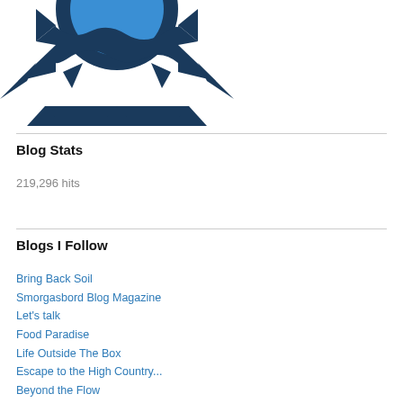[Figure (logo): WordPress or blog logo: gear/cog shape in dark navy blue with a blue circle in the center, partially cropped at top]
Blog Stats
219,296 hits
Blogs I Follow
Bring Back Soil
Smorgasbord Blog Magazine
Let's talk
Food Paradise
Life Outside The Box
Escape to the High Country...
Beyond the Flow
Everpine Forest & Farm